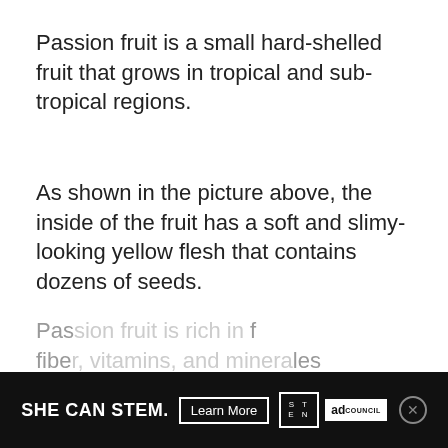Passion fruit is a small hard-shelled fruit that grows in tropical and sub-tropical regions.
As shown in the picture above, the inside of the fruit has a soft and slimy-looking yellow flesh that contains dozens of seeds.
The taste of the fruit is intensely tart and moderately sweet with a strong flavor.
Pas... f fibe... les
[Figure (other): Advertisement banner: SHE CAN STEM. Learn More button, STEN logo box, ad council logo, and close button]